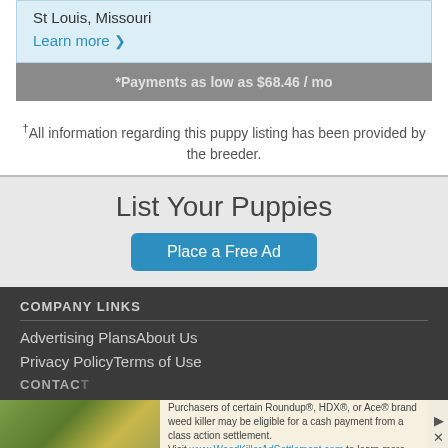St Louis, Missouri
Learn more ›
*Payments as low as $68.46 / mo
†All information regarding this puppy listing has been provided by the breeder.
List Your Puppies
Place a Free Ad
COMPANY LINKS
Advertising Plans
About Us
Privacy Policy
Terms of Use
CONTACT
Purchasers of certain Roundup®, HDX®, or Ace® brand weed killer may be eligible for a cash payment from a class action settlement. Visit www.WeedKillerAdSettlement.com to learn more.